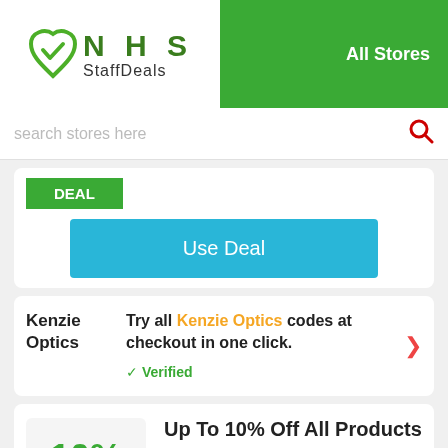[Figure (logo): NHS StaffDeals logo with green heart checkmark icon and text]
All Stores
search stores here
DEAL
Use Deal
Kenzie Optics
Try all Kenzie Optics codes at checkout in one click.
✓ Verified
10%
Up To 10% Off All Products
Expires 7-9-22